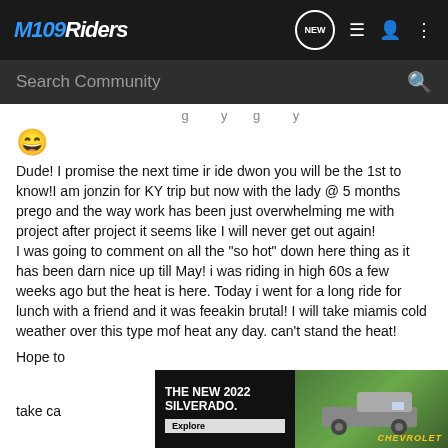M109Riders - Navigation bar with logo, NEW, menu, user, and dots icons
Search Community
😄
Dude! I promise the next time ir ide dwon you will be the 1st to know!I am jonzin for KY trip but now with the lady @ 5 months prego and the way work has been just overwhelming me with project after project it seems like I will never get out again!
I was going to comment on all the "so hot" down here thing as it has been darn nice up till May! i was riding in high 60s a few weeks ago but the heat is here. Today i went for a long ride for lunch with a friend and it was feeakin brutal! I will take miamis cold weather over this type mof heat any day. can't stand the heat!
Hope to
take ca
[Figure (screenshot): Chevrolet 2022 Silverado advertisement banner with dark background, white bold text 'THE NEW 2022 SILVERADO.', Explore button, truck image, and Chevrolet gold logo]